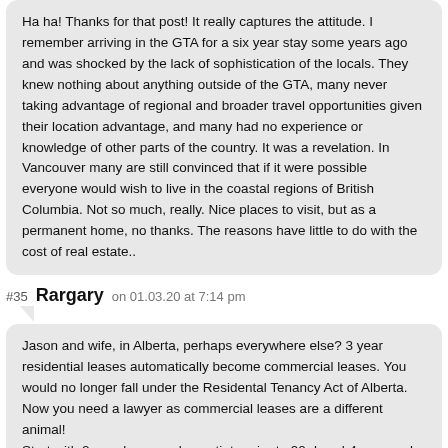Ha ha! Thanks for that post! It really captures the attitude. I remember arriving in the GTA for a six year stay some years ago and was shocked by the lack of sophistication of the locals. They knew nothing about anything outside of the GTA, many never taking advantage of regional and broader travel opportunities given their location advantage, and many had no experience or knowledge of other parts of the country. It was a revelation. In Vancouver many are still convinced that if it were possible everyone would wish to live in the coastal regions of British Columbia. Not so much, really. Nice places to visit, but as a permanent home, no thanks. The reasons have little to do with the cost of real estate..
#35 Rargary on 01.03.20 at 7:14 pm
Jason and wife, in Alberta, perhaps everywhere else? 3 year residential leases automatically become commercial leases. You would no longer fall under the Residental Tenancy Act of Alberta. Now you need a lawyer as commercial leases are a different animal! Start with 2 year lease and negotiate prior to 90 days b4 your end term. OR… buy a mouse and hope the pipeline and oil economy are kind to us repressed Calgary home owners.